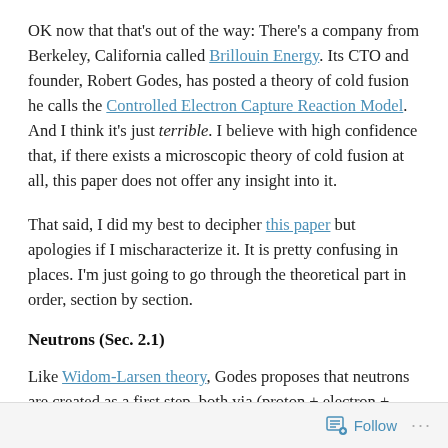OK now that that's out of the way: There's a company from Berkeley, California called Brillouin Energy. Its CTO and founder, Robert Godes, has posted a theory of cold fusion he calls the Controlled Electron Capture Reaction Model. And I think it's just terrible. I believe with high confidence that, if there exists a microscopic theory of cold fusion at all, this paper does not offer any insight into it.
That said, I did my best to decipher this paper but apologies if I mischaracterize it. It is pretty confusing in places. I'm just going to go through the theoretical part in order, section by section.
Neutrons (Sec. 2.1)
Like Widom-Larsen theory, Godes proposes that neutrons are created as a first step, both via (proton + electron +
Follow ···